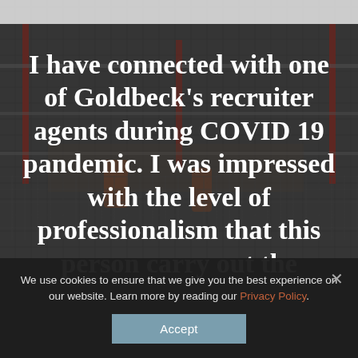[Figure (photo): Aerial view of a construction site with workers, reinforcement steel mesh, scaffolding with red vertical elements, and construction materials. The image has a dark overlay. A light grey bar runs across the top.]
I have connected with one of Goldbeck’s recruiter agents during COVID 19 pandemic. I was impressed with the level of professionalism that this person carry out the
We use cookies to ensure that we give you the best experience on our website. Learn more by reading our Privacy Policy.
Accept